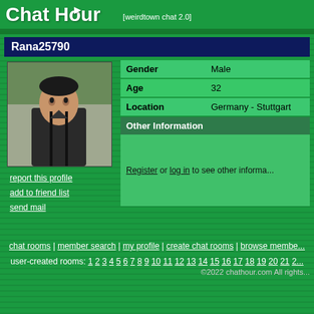Chat Hour [weirdtown chat 2.0]
Rana25790
[Figure (photo): Profile photo of a young man in dark clothing, outdoor background]
| Field | Value |
| --- | --- |
| Gender | Male |
| Age | 32 |
| Location | Germany - Stuttgart |
Other Information
Register or log in to see other informa...
report this profile
add to friend list
send mail
chat rooms | member search | my profile | create chat rooms | browse membe...
user-created rooms: 1 2 3 4 5 6 7 8 9 10 11 12 13 14 15 16 17 18 19 20 21 2...
©2022 chathour.com All rights...